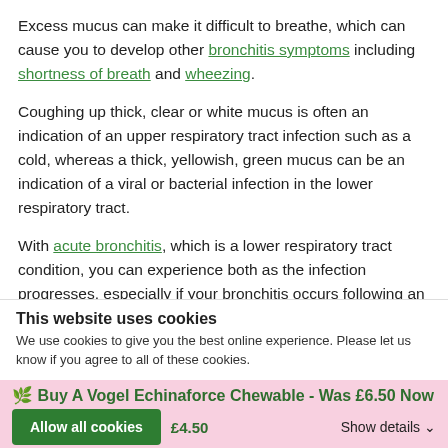Excess mucus can make it difficult to breathe, which can cause you to develop other bronchitis symptoms including shortness of breath and wheezing.
Coughing up thick, clear or white mucus is often an indication of an upper respiratory tract infection such as a cold, whereas a thick, yellowish, green mucus can be an indication of a viral or bacterial infection in the lower respiratory tract.
With acute bronchitis, which is a lower respiratory tract condition, you can experience both as the infection progresses, especially if your bronchitis occurs following an upper respiratory infection.
...is produced varies from person to person. However, it usually reduces as the infection does
This website uses cookies
We use cookies to give you the best online experience. Please let us know if you agree to all of these cookies.
Buy A Vogel Echinaforce Chewable - Was £6.50 Now £4.50
Allow all cookies
Show details